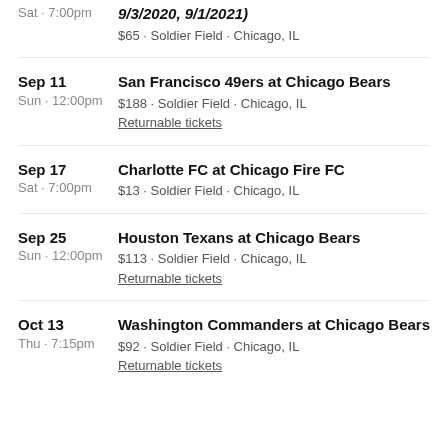Sat · 7:00pm | 9/3/2020, 9/1/2021) | $65 · Soldier Field · Chicago, IL
Sep 11 | Sun · 12:00pm | San Francisco 49ers at Chicago Bears | $188 · Soldier Field · Chicago, IL | Returnable tickets
Sep 17 | Sat · 7:00pm | Charlotte FC at Chicago Fire FC | $13 · Soldier Field · Chicago, IL
Sep 25 | Sun · 12:00pm | Houston Texans at Chicago Bears | $113 · Soldier Field · Chicago, IL | Returnable tickets
Oct 13 | Thu · 7:15pm | Washington Commanders at Chicago Bears | $92 · Soldier Field · Chicago, IL | Returnable tickets